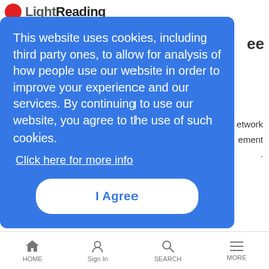[Figure (logo): Light Reading logo with red circle and gray text]
This website uses cookies, including third party ones, to allow for analysis of how people use our website in order to improve your experience and our services. By continuing to use our website, you agree to the use of such cookies. Click here for more info
I Agree
up directly from Flex, a streaming platform that Comcast tailors to its base of broadband-only customers.
AT&T adds 246K fiber subs in Q2, expects to 'step up' pace later in year
News Analysis | 7/22/2021
Company claims nearly 80% of new fiber broadband adds are new AT&T
HOME  Sign In  SEARCH  MORE